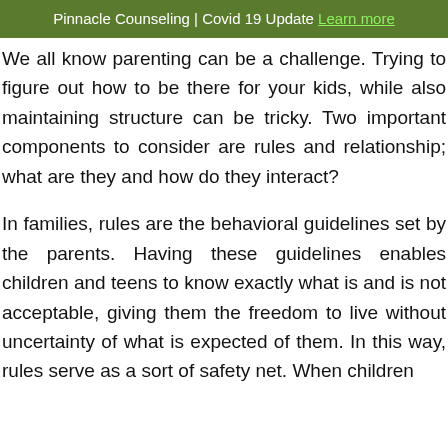Pinnacle Counseling | Covid 19 Update Learn more
We all know parenting can be a challenge. Trying to figure out how to be there for your kids, while also maintaining structure can be tricky. Two important components to consider are rules and relationship; what are they and how do they interact?
In families, rules are the behavioral guidelines set by the parents. Having these guidelines enables children and teens to know exactly what is and is not acceptable, giving them the freedom to live without uncertainty of what is expected of them. In this way, rules serve as a sort of safety net. When children